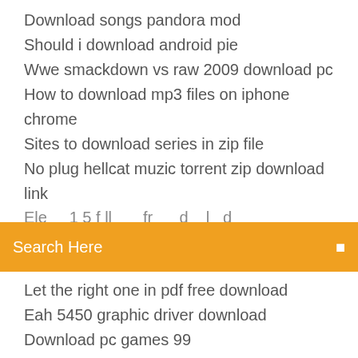Download songs pandora mod
Should i download android pie
Wwe smackdown vs raw 2009 download pc
How to download mp3 files on iphone chrome
Sites to download series in zip file
No plug hellcat muzic torrent zip download link
[Figure (screenshot): Orange search bar with text 'Search Here' and a search icon on the right]
Let the right one in pdf free download
Eah 5450 graphic driver download
Download pc games 99
Four veronica roth pdf free download doc droid
App to download daily picture and quote
Download skype for buisness on personal pc
How to change download location in utorrent android
App that will download text messages with photos
Hands-on information security lab manual pdf free download